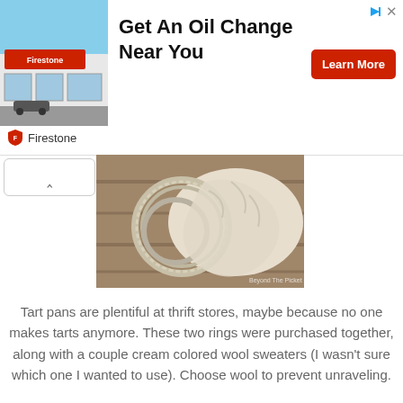[Figure (infographic): Advertisement banner for Firestone oil change with photo of auto shop exterior, headline 'Get An Oil Change Near You', red 'Learn More' button, and Firestone logo with shield icon]
[Figure (photo): Tart pan rings (two circular fluted metal rings) with cream-colored wool sweater fabric coiled inside and around them, on a wooden surface. Watermark reads 'Beyond The Picket Fence']
Tart pans are plentiful at thrift stores, maybe because no one makes tarts anymore. These two rings were purchased together, along with a couple cream colored wool sweaters (I wasn't sure which one I wanted to use). Choose wool to prevent unraveling.
[Figure (photo): Close-up of cream/white wool fabric or sweater material, partially visible at the bottom of the page]